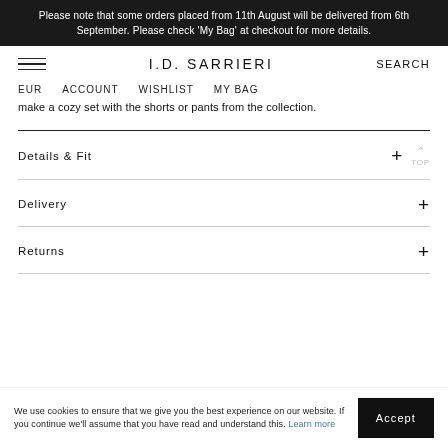Please note that some orders placed from 11th August will be delivered from 6th September. Please check 'My Bag' at checkout for more details.
I.D. SARRIERI   SEARCH   EUR   ACCOUNT   WISHLIST   MY BAG
make a cozy set with the shorts or pants from the collection.
Details & Fit
Delivery
Returns
We use cookies to ensure that we give you the best experience on our website. If you continue we'll assume that you have read and understand this. Learn more